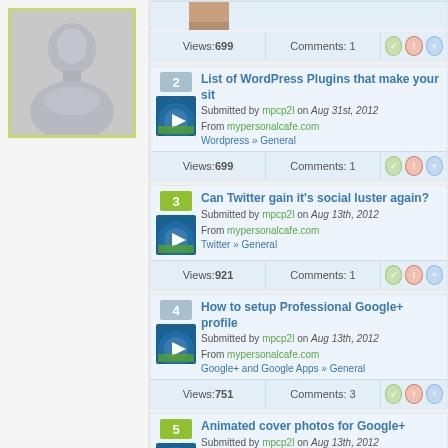[Figure (illustration): Default user avatar silhouette in grey with yellow-green border]
Views: 699  Comments: 1
List of WordPress Plugins that make your sit
Submitted by mpcp2l on Aug 31st, 2012
From mypersonalcafe.com
Wordpress » General
Views: 699  Comments: 1
Can Twitter gain it's social luster again?
Submitted by mpcp2l on Aug 13th, 2012
From mypersonalcafe.com
Twitter » General
Views: 921  Comments: 1
How to setup Professional Google+ profile
Submitted by mpcp2l on Aug 13th, 2012
From mypersonalcafe.com
Google+ and Google Apps » General
Views: 751  Comments: 3
Animated cover photos for Google+
Submitted by mpcp2l on Aug 13th, 2012
From mypersonalcafe.com